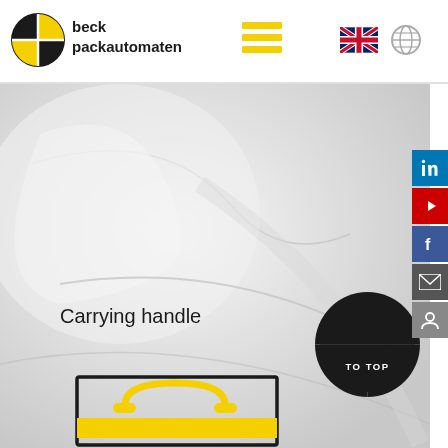[Figure (logo): Beck Packautomaten logo with quartered circle icon in black and yellow]
[Figure (screenshot): Navigation header with hamburger menu (3 yellow lines), UK flag icon, and globe/language icon]
[Figure (photo): Close-up photo of white packaging material with soft shadows and curved surfaces]
[Figure (infographic): Social media sidebar with LinkedIn (blue), YouTube (red), Facebook (blue), email (grey), user profile (grey) icons]
Carrying handle
[Figure (illustration): TO TOP button – black fan/sector shape with white text 'TO TOP']
[Figure (illustration): Package icon showing a box with yellow carrying handle cutout and a yellow horizontal stripe]